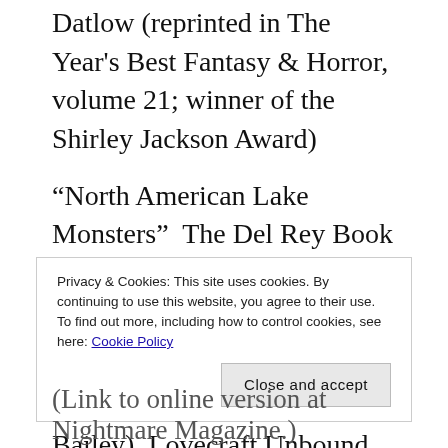Datlow (reprinted in The Year's Best Fantasy & Horror, volume 21; winner of the Shirley Jackson Award)
“North American Lake Monsters”  The Del Rey Book of Science Fiction and Fantasy, edited by Ellen Datlow
“The Crevasse” (with Dale Bailey)  Lovecraft Unbound, edited by Ellen Datlow (reprinted in The Best Horror of the Year, Volume 2; and in The Year’s Best Dark Fantasy & Horror 2010; nominated for the Shirley Jackson Award) (Link to online version at Lovecraft
Privacy & Cookies: This site uses cookies. By continuing to use this website, you agree to their use.
To find out more, including how to control cookies, see here: Cookie Policy
(Link to online version at Nightmare Magazine.)